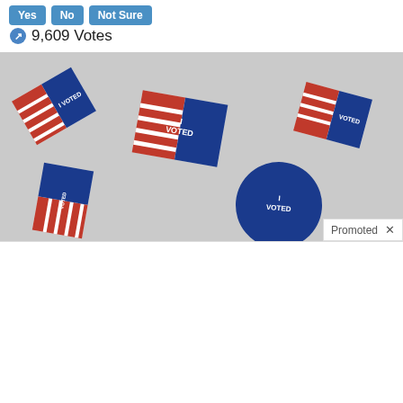Yes  No  Not sure
9,609 Votes
[Figure (photo): Multiple 'I Voted' stickers scattered on a white surface, red and blue colors with stars and stripes design]
Promoted X
[Figure (photo): Medical illustration of internal organs (pancreas area)]
What They Didn't Want You Knowing About Metformin
207,337
[Figure (illustration): Medical illustration showing human body outlines with red highlighted areas indicating sciatic nerve pain regions]
Suffering From Chronic Sciatic Nerve Pain? Here's A Secret You Need To Know
86,593